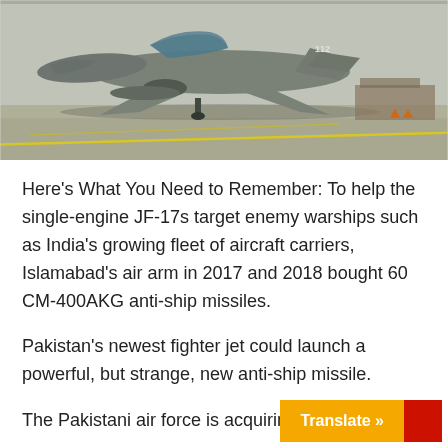[Figure (photo): A military fighter jet (JF-17) parked on a tarmac/airfield, photographed from the front-side. The aircraft is gray and there is ground support equipment visible in the background.]
Here's What You Need to Remember: To help the single-engine JF-17s target enemy warships such as India's growing fleet of aircraft carriers, Islamabad's air arm in 2017 and 2018 bought 60 CM-400AKG anti-ship missiles.
Pakistan's newest fighter jet could launch a powerful, but strange, new anti-ship missile.
The Pakistani air force is acquiring